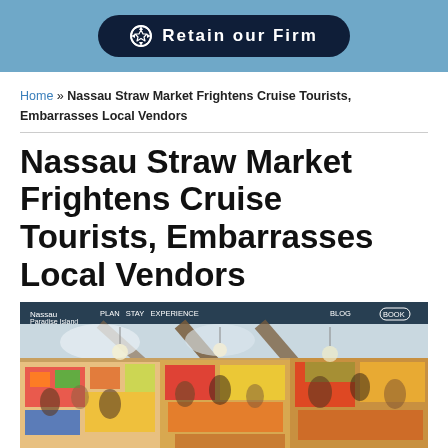⚽ Retain our Firm
Home » Nassau Straw Market Frightens Cruise Tourists, Embarrasses Local Vendors
Nassau Straw Market Frightens Cruise Tourists, Embarrasses Local Vendors
[Figure (photo): Interior of Nassau Straw Market showing crowded vendor stalls with colorful merchandise, people browsing, and a large open-air structure with wooden beams. A website navigation bar for Nassau Paradise Island is visible at the top of the image.]